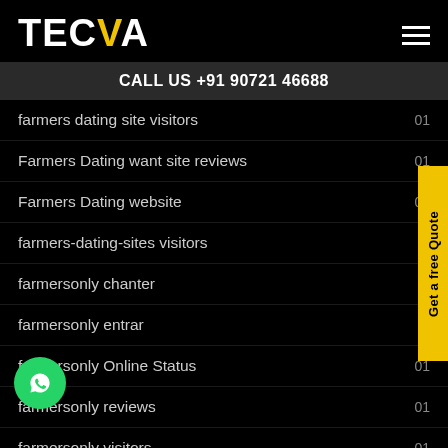TECVA
CALL US +91 90721 46688
farmers dating site visitors  01
Farmers Dating want site reviews  01
Farmers Dating website  01
farmers-dating-sites visitors  01
farmersonly chanter
farmersonly entrar
farmersonly Online Status  01
farmersonly reviews  01
farmersonly visitors  01
Get a free Quote